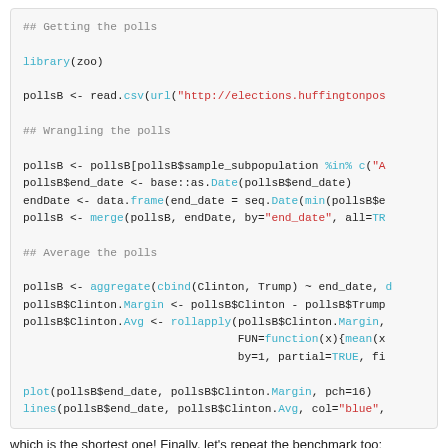## Getting the polls

library(zoo)

pollsB <- read.csv(url("http://elections.huffingtonpos

## Wrangling the polls

pollsB <- pollsB[pollsB$sample_subpopulation %in% c("A
pollsB$end_date <- base::as.Date(pollsB$end_date)
endDate <- data.frame(end_date = seq.Date(min(pollsB$e
pollsB <- merge(pollsB, endDate, by="end_date", all=TR

## Average the polls

pollsB <- aggregate(cbind(Clinton, Trump) ~ end_date, 
pollsB$Clinton.Margin <- pollsB$Clinton - pollsB$Trump
pollsB$Clinton.Avg <- rollapply(pollsB$Clinton.Margin,
                                FUN=function(x){mean(x
                                by=1, partial=TRUE, fi

plot(pollsB$end_date, pollsB$Clinton.Margin, pch=16)
lines(pollsB$end_date, pollsB$Clinton.Avg, col="blue",
which is the shortest one! Finally, let's repeat the benchmark too:
library(microbenchmark)